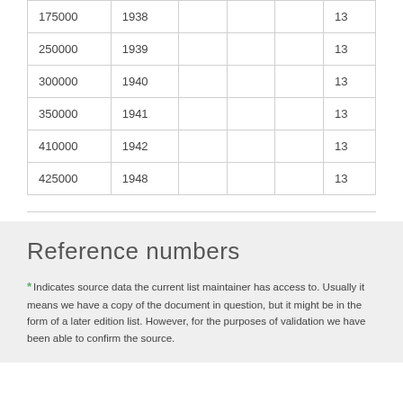| 175000 | 1938 |  |  |  | 13 |
| 250000 | 1939 |  |  |  | 13 |
| 300000 | 1940 |  |  |  | 13 |
| 350000 | 1941 |  |  |  | 13 |
| 410000 | 1942 |  |  |  | 13 |
| 425000 | 1948 |  |  |  | 13 |
Reference numbers
* Indicates source data the current list maintainer has access to. Usually it means we have a copy of the document in question, but it might be in the form of a later edition list. However, for the purposes of validation we have been able to confirm the source.